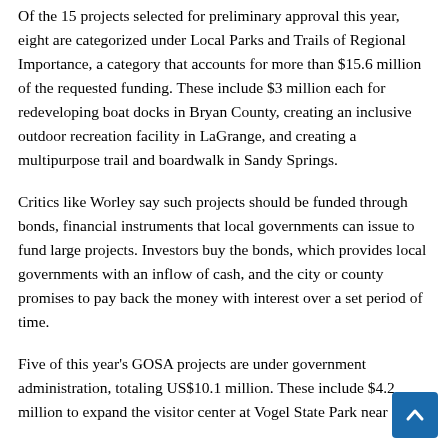Of the 15 projects selected for preliminary approval this year, eight are categorized under Local Parks and Trails of Regional Importance, a category that accounts for more than $15.6 million of the requested funding. These include $3 million each for redeveloping boat docks in Bryan County, creating an inclusive outdoor recreation facility in LaGrange, and creating a multipurpose trail and boardwalk in Sandy Springs.
Critics like Worley say such projects should be funded through bonds, financial instruments that local governments can issue to fund large projects. Investors buy the bonds, which provides local governments with an inflow of cash, and the city or county promises to pay back the money with interest over a set period of time.
Five of this year's GOSA projects are under government administration, totaling US$10.1 million. These include $4.2 million to expand the visitor center at Vogel State Park near